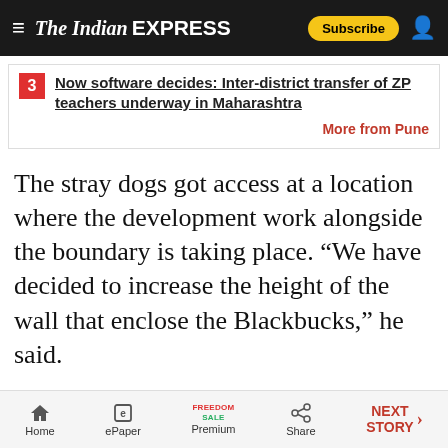The Indian Express — Subscribe
3 Now software decides: Inter-district transfer of ZP teachers underway in Maharashtra
More from Pune
The stray dogs got access at a location where the development work alongside the boundary is taking place. “We have decided to increase the height of the wall that enclose the Blackbucks,” he said.
© The Indian Express (P) Ltd
First published on: 07-01-2021 at 11:10:07 am
Home  ePaper  Premium  Share  NEXT STORY